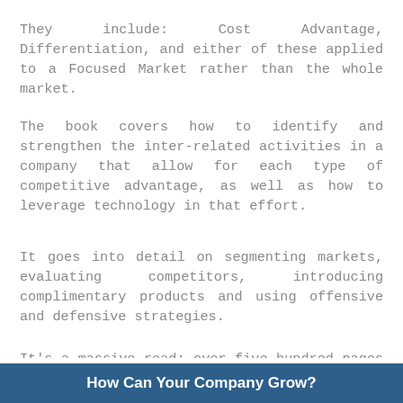They include: Cost Advantage, Differentiation, and either of these applied to a Focused Market rather than the whole market.
The book covers how to identify and strengthen the inter-related activities in a company that allow for each type of competitive advantage, as well as how to leverage technology in that effort.
It goes into detail on segmenting markets, evaluating competitors, introducing complimentary products and using offensive and defensive strategies.
It's a massive read: over five hundred pages of rather technical writing with only the occasional real-world example
How Can Your Company Grow?